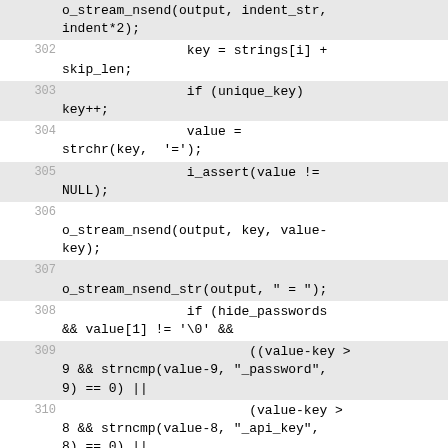Source code listing lines 301-313 showing C code for stream output and key/value processing with password hiding logic.